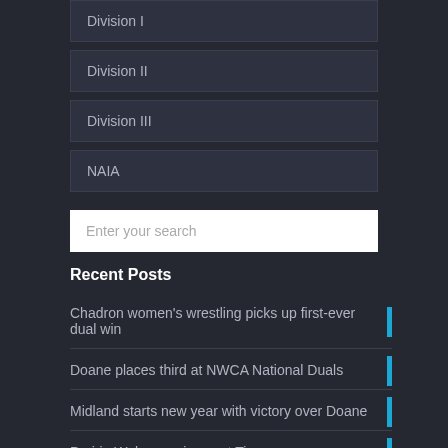Division I
Division II
Division III
NAIA
Enter your search
Recent Posts
Chadron women's wrestling picks up first-ever dual win
Doane places third at NWCA National Duals
Midland starts new year with victory over Doane
Prairie Wolves cruise past Tigers